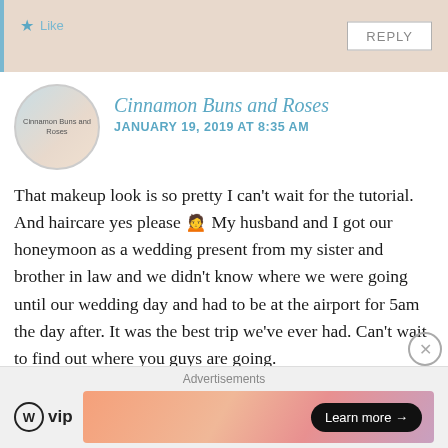[Figure (other): Top portion of a comment box with beige background and blue left border, showing a Like button with star icon and a REPLY button]
[Figure (illustration): Circular avatar for Cinnamon Buns and Roses blog showing cinnamon buns and roses]
Cinnamon Buns and Roses
JANUARY 19, 2019 AT 8:35 AM
That makeup look is so pretty I can't wait for the tutorial. And haircare yes please 🙍 My husband and I got our honeymoon as a wedding present from my sister and brother in law and we didn't know where we were going until our wedding day and had to be at the airport for 5am the day after. It was the best trip we've ever had. Can't wait to find out where you guys are going.
Advertisements
[Figure (logo): WordPress VIP logo and advertisement banner with Learn more button]